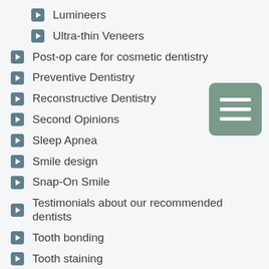Lumineers
Ultra-thin Veneers
Post-op care for cosmetic dentistry
Preventive Dentistry
Reconstructive Dentistry
Second Opinions
Sleep Apnea
Smile design
Snap-On Smile
Testimonials about our recommended dentists
Tooth bonding
Tooth staining
Tooth whitening
Traumatic Injury